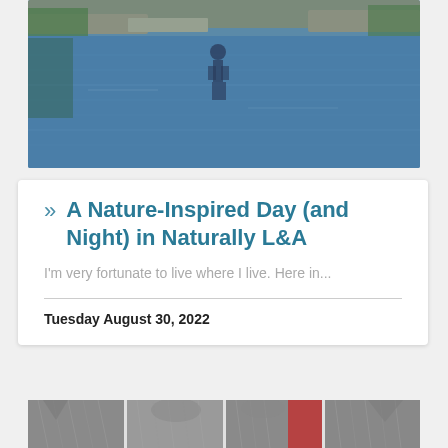[Figure (photo): Outdoor photo of a person's reflection in calm water with rocky shoreline and trees visible]
A Nature-Inspired Day (and Night) in Naturally L&A
I'm very fortunate to live where I live. Here in...
Tuesday August 30, 2022
[Figure (photo): Strip of close-up photos showing animal fur/feathers, appears to be cats or similar animals, with a red object in background]